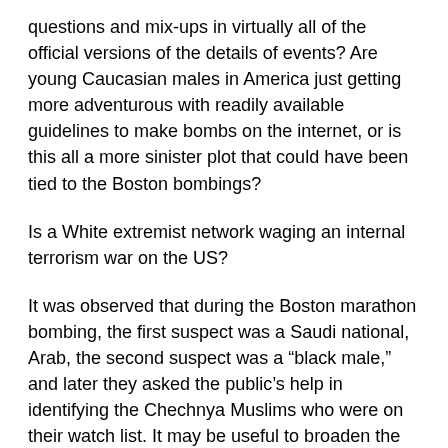questions and mix-ups in virtually all of the official versions of the details of events? Are young Caucasian males in America just getting more adventurous with readily available guidelines to make bombs on the internet, or is this all a more sinister plot that could have been tied to the Boston bombings?
Is a White extremist network waging an internal terrorism war on the US?
It was observed that during the Boston marathon bombing, the first suspect was a Saudi national, Arab, the second suspect was a "black male," and later they asked the public's help in identifying the Chechnya Muslims who were on their watch list. It may be useful to broaden the suspicion profile in consideration of these recent events.